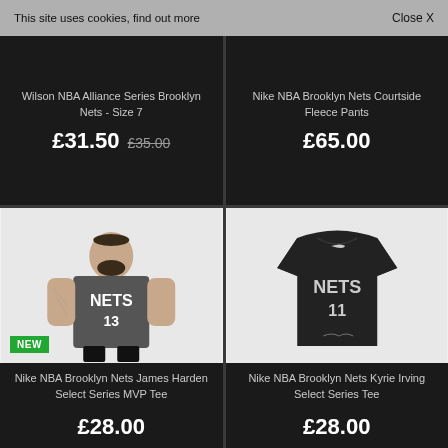This site uses cookies, find out more    Close X
Wilson NBA Alliance Series Brooklyn Nets - Size 7
£31.50  £35.00
Nike NBA Brooklyn Nets Courtside Fleece Pants
£65.00
[Figure (photo): Man wearing a dark grey Brooklyn Nets #13 t-shirt with 'NEW' badge in bottom-left corner]
Nike NBA Brooklyn Nets James Harden Select Series MVP Tee
£28.00
[Figure (photo): Black Brooklyn Nets #11 t-shirt displayed on white background]
Nike NBA Brooklyn Nets Kyrie Irving Select Series Tee
£28.00